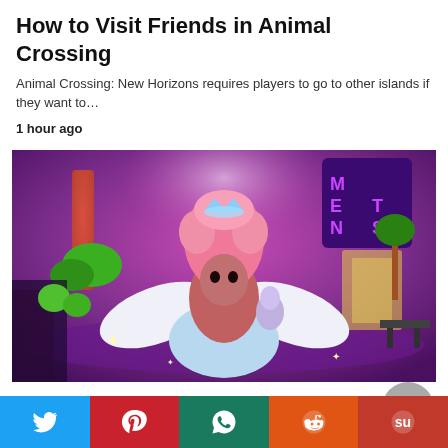How to Visit Friends in Animal Crossing
Animal Crossing: New Horizons requires players to go to other islands if they want to…
1 hour ago
[Figure (screenshot): Screenshot from a Roblox game showing a character with pink hair, white wings, and a crown in a colorful neon-lit environment.]
ROBLOX
How to Get a Halo in Royale High 2022